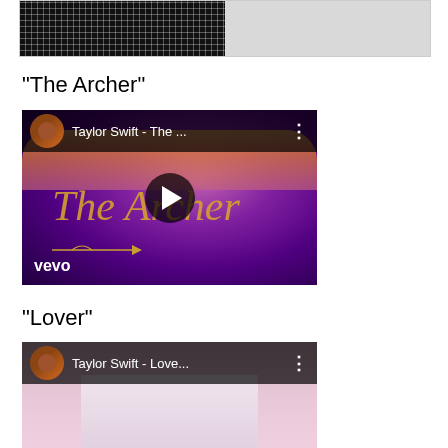[Figure (screenshot): Top portion of a YouTube-style video strip showing two images side by side - left dark fishnet/mesh pattern, right white/light background]
"The Archer"
[Figure (screenshot): YouTube video embed for Taylor Swift - The Archer (Vevo) showing a purple/magenta cloudy background with cursive 'The Archer' text, a play button in center, Vevo logo bottom left, and video top bar with avatar and title 'Taylor Swift - The ...']
"Lover"
[Figure (screenshot): YouTube video embed for Taylor Swift - Lover (Vevo) showing a pink/pastel background with curtain, video top bar with avatar and title 'Taylor Swift - Love...']